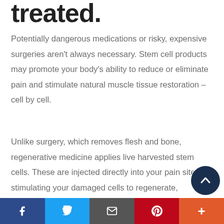treated.
Potentially dangerous medications or risky, expensive surgeries aren't always necessary. Stem cell products may promote your body's ability to reduce or eliminate pain and stimulate natural muscle tissue restoration – cell by cell.
Unlike surgery, which removes flesh and bone, regenerative medicine applies live harvested stem cells. These are injected directly into your pain site, stimulating your damaged cells to regenerate, gradually reconstructing your painful tissue, reducing or eliminating your pain, repairing your muscle, and restoring your range of